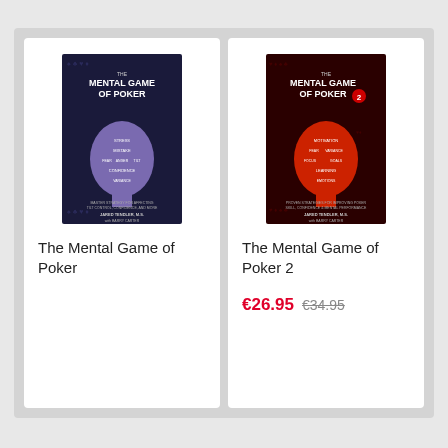[Figure (illustration): Book cover of 'The Mental Game of Poker' - dark navy background with a purple silhouette of a human head containing text labels, title at top, authors Jared Tendler M.S. and Barry Carter at bottom]
The Mental Game of Poker
[Figure (illustration): Book cover of 'The Mental Game of Poker 2' - dark red/black background with a red silhouette of a human head containing text labels, title at top with '2' indicator, authors Jared Tendler M.S. and Barry Carter at bottom]
The Mental Game of Poker 2
€26.95  €34.95